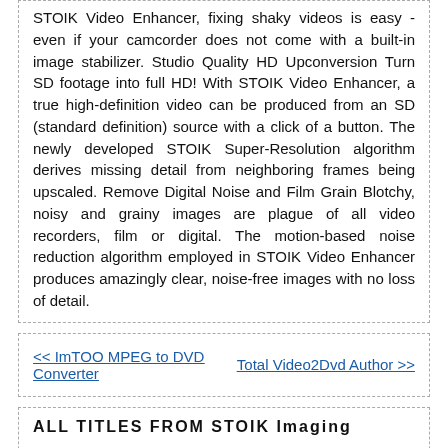STOIK Video Enhancer, fixing shaky videos is easy - even if your camcorder does not come with a built-in image stabilizer. Studio Quality HD Upconversion Turn SD footage into full HD! With STOIK Video Enhancer, a true high-definition video can be produced from an SD (standard definition) source with a click of a button. The newly developed STOIK Super-Resolution algorithm derives missing detail from neighboring frames being upscaled. Remove Digital Noise and Film Grain Blotchy, noisy and grainy images are plague of all video recorders, film or digital. The motion-based noise reduction algorithm employed in STOIK Video Enhancer produces amazingly clear, noise-free images with no loss of detail.
<< ImTOO MPEG to DVD Converter
Total Video2Dvd Author >>
ALL TITLES FROM STOIK Imaging
STOIK Video Enhancer
Fix exposure, color balance, pull shadows and repair highlights in a few clicks!